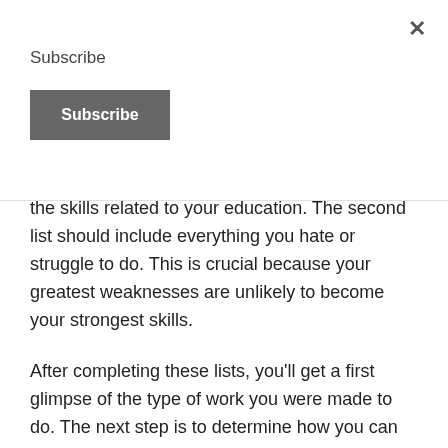Subscribe
Subscribe
the skills related to your education. The second list should include everything you hate or struggle to do. This is crucial because your greatest weaknesses are unlikely to become your strongest skills.
After completing these lists, you'll get a first glimpse of the type of work you were made to do. The next step is to determine how you can make money by employing these skills to meet a demand and connect with prospective clients.
And this might be simpler than you think. If the people you